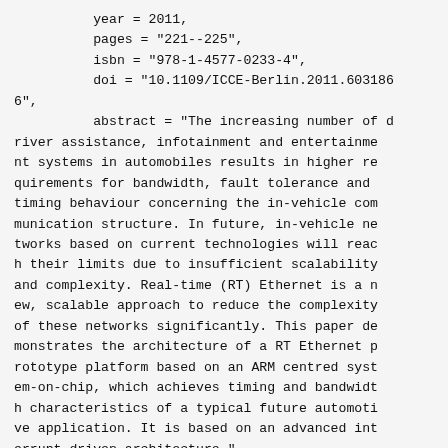year = 2011,
          pages = "221--225",
          isbn = "978-1-4577-0233-4",
          doi = "10.1109/ICCE-Berlin.2011.6031866",
          abstract = "The increasing number of driver assistance, infotainment and entertainment systems in automobiles results in higher requirements for bandwidth, fault tolerance and timing behaviour concerning the in-vehicle communication structure. In future, in-vehicle networks based on current technologies will reach their limits due to insufficient scalability and complexity. Real-time (RT) Ethernet is a new, scalable approach to reduce the complexity of these networks significantly. This paper demonstrates the architecture of a RT Ethernet prototype platform based on an ARM centred system-on-chip, which achieves timing and bandwidth characteristics of a typical future automotive application. It is based on an advanced interrupt driven architecture."
}